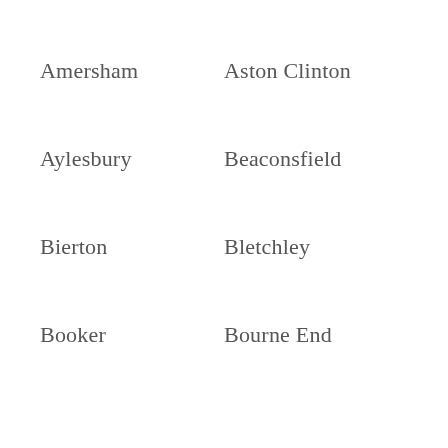Amersham
Aston Clinton
Aylesbury
Beaconsfield
Bierton
Bletchley
Booker
Bourne End